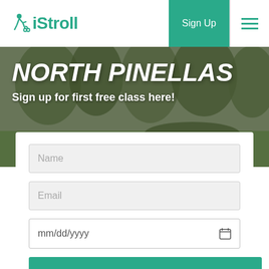[Figure (logo): iStroll logo with teal walking figure with stroller icon and teal iStroll text]
Sign Up
[Figure (photo): Outdoor group fitness class in a park with trees and green grass, people exercising with strollers]
NORTH PINELLAS
Sign up for first free class here!
Name
Email
mm/dd/yyyy
SIGN UP